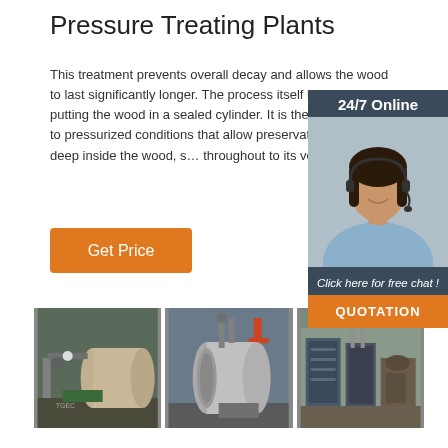Pressure Treating Plants
This treatment prevents overall decay and allows the wood to last significantly longer. The process itself involves putting the wood in a sealed cylinder. It is then submitted to pressurized conditions that allow preservatives to seep deep inside the wood, saturating it throughout to its very core.
Get Price
[Figure (photo): 24/7 Online chat support widget with woman wearing headset]
[Figure (photo): Three photos of industrial pressure treating plant equipment and cylinders]